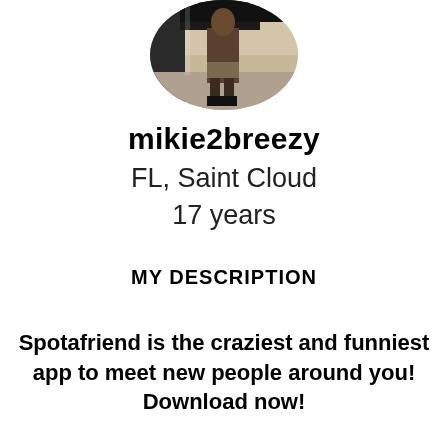[Figure (photo): Circular profile photo of a person standing indoors, cropped at top of page]
mikie2breezy
FL, Saint Cloud
17 years
MY DESCRIPTION
Spotafriend is the craziest and funniest app to meet new people around you! Download now!